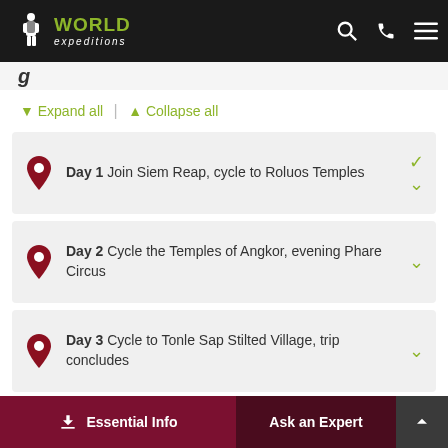World Expeditions
▾ Expand all | ▴ Collapse all
Day 1 Join Siem Reap, cycle to Roluos Temples
Day 2 Cycle the Temples of Angkor, evening Phare Circus
Day 3 Cycle to Tonle Sap Stilted Village, trip concludes
Essential Info | Ask an Expert